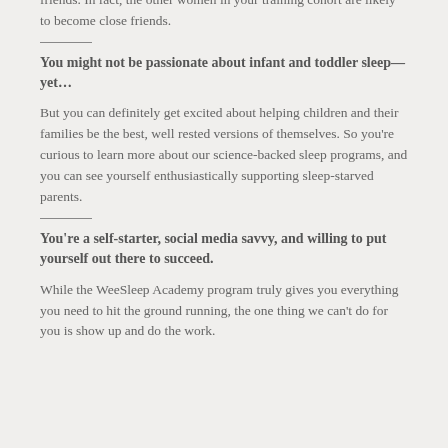friends. In fact, the other women in your training cohort are likely to become close friends.
You might not be passionate about infant and toddler sleep—yet…
But you can definitely get excited about helping children and their families be the best, well rested versions of themselves. So you're curious to learn more about our science-backed sleep programs, and you can see yourself enthusiastically supporting sleep-starved parents.
You're a self-starter, social media savvy, and willing to put yourself out there to succeed.
While the WeeSleep Academy program truly gives you everything you need to hit the ground running, the one thing we can't do for you is show up and do the work.